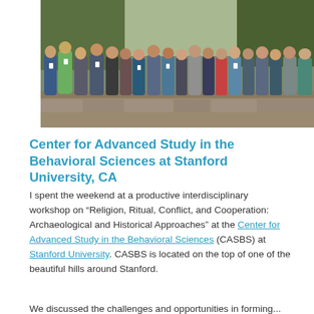[Figure (photo): Group photo of approximately 20 researchers standing outdoors in a garden/wooded setting at the Center for Advanced Study in the Behavioral Sciences, Stanford University]
Center for Advanced Study in the Behavioral Sciences at Stanford University, CA
I spent the weekend at a productive interdisciplinary workshop on “Religion, Ritual, Conflict, and Cooperation: Archaeological and Historical Approaches” at the Center for Advanced Study in the Behavioral Sciences (CASBS) at Stanford University. CASBS is located on the top of one of the beautiful hills around Stanford.
We discussed the challenges and opportunities in forming...